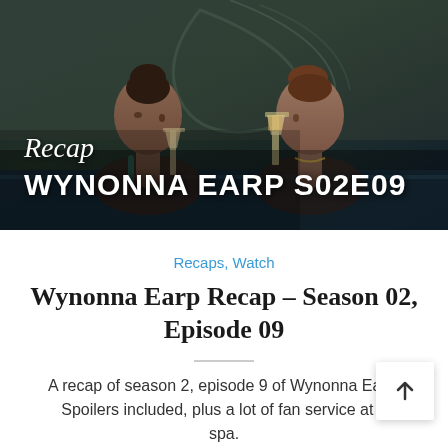[Figure (photo): Two women sitting in a spa/hot tub, one holding a champagne flute. Dark moody lighting with decorative wall art in background. Overlay text reads 'Recap' in italic script and 'WYNONNA EARP S02E09' in bold white capitals.]
Recaps, Watch
Wynonna Earp Recap – Season 02, Episode 09
A recap of season 2, episode 9 of Wynonna Earp. Spoilers included, plus a lot of fan service at a spa.